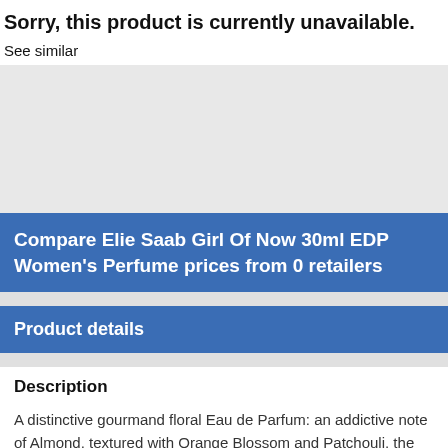Sorry, this product is currently unavailable.
See similar
[Figure (other): Grey placeholder image area]
Compare Elie Saab Girl Of Now 30ml EDP Women's Perfume prices from 0 retailers
Product details
Description
A distinctive gourmand floral Eau de Parfum: an addictive note of Almond, textured with Orange Blossom and Patchouli, the brand’s signature. Inspired by Lebanese